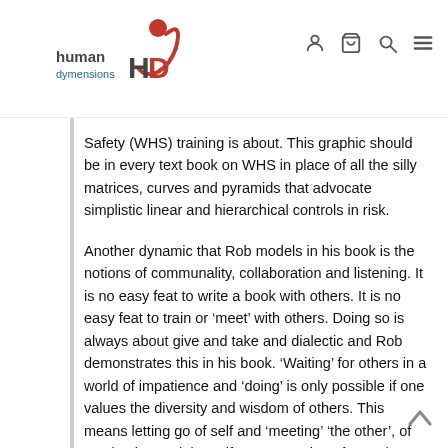human dimensions [logo]
Safety (WHS) training is about. This graphic should be in every text book on WHS in place of all the silly matrices, curves and pyramids that advocate simplistic linear and hierarchical controls in risk.
Another dynamic that Rob models in his book is the notions of communality, collaboration and listening. It is no easy feat to write a book with others. It is no easy feat to train or ‘meet’ with others. Doing so is always about give and take and dialectic and Rob demonstrates this in his book. ‘Waiting’ for others in a world of impatience and ‘doing’ is only possible if one values the diversity and wisdom of others. This means letting go of self and ‘meeting’ ‘the other’, of moving beyond the self-preoccupation of monologue and embracing dialogue as a modality of learning. It is clear that Rob values his friends and that his friends make up an important contribution to the book. Each bring their own